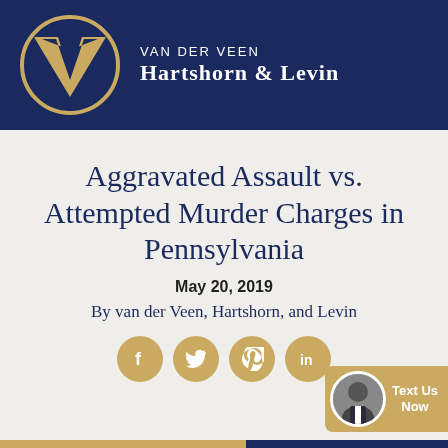[Figure (logo): Van der Veen Hartshorn & Levin law firm logo: gold V-shaped emblem in a circle on a navy blue header, with firm name in white text]
Aggravated Assault vs. Attempted Murder Charges in Pennsylvania
May 20, 2019
By van der Veen, Hartshorn, and Levin
[Figure (infographic): Four gold circular social media share buttons: Facebook, Twitter, Pinterest, LinkedIn]
[Figure (infographic): Text Us Now widget with photo of attorney on gold background, bottom right corner]